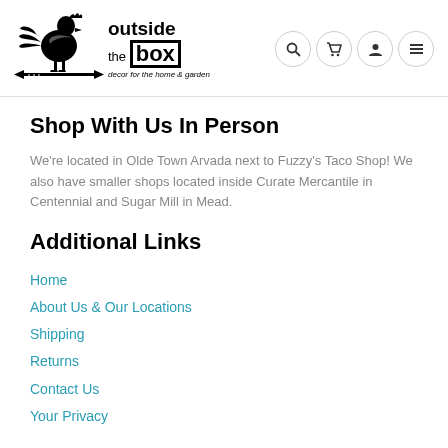outside the box — decor for the home & garden
Shop With Us In Person
We're located in Olde Town Arvada next to Fuzzy's Taco Shop! We also have smaller shops located inside Curate Mercantile in Centennial and Sugar Mill in Mead.
Additional Links
Home
About Us & Our Locations
Shipping
Returns
Contact Us
Your Privacy